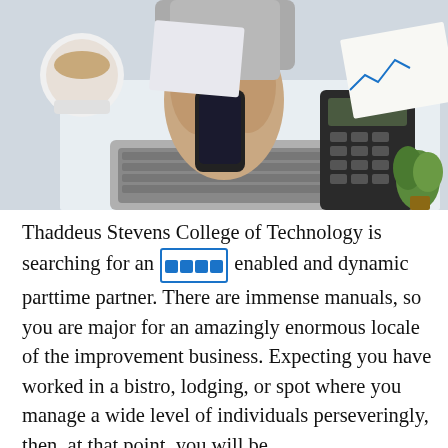[Figure (photo): Overhead view of a person at a desk holding a smartphone, with a laptop keyboard, calculator, financial charts/papers, a cup of coffee, and a small green plant visible.]
Thaddeus Stevens College of Technology is searching for an [icon] enabled and dynamic parttime partner. There are immense manuals, so you are major for an amazingly enormous locale of the improvement business. Expecting you have worked in a bistro, lodging, or spot where you manage a wide level of individuals perseveringly, then, at that point, you will be